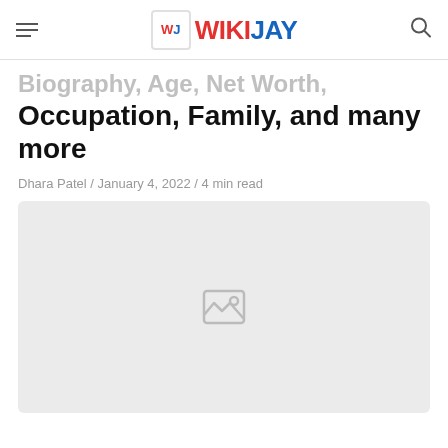WIKIJAY
Occupation, Family, and many more
Dhara Patel / January 4, 2022 / 4 min read
[Figure (photo): Image placeholder with broken image icon on light grey background]